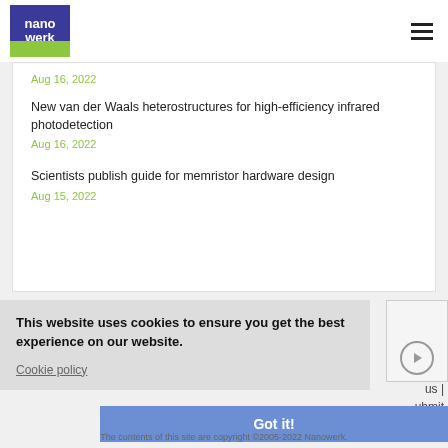nanowerk
Aug 16, 2022
New van der Waals heterostructures for high-efficiency infrared photodetection
Aug 16, 2022
Scientists publish guide for memristor hardware design
Aug 15, 2022
This website uses cookies to ensure you get the best experience on our website.
Cookie policy
us | ubmit
Got it!
The contents of this site are copyright ©2005-2022 Nanowerk.